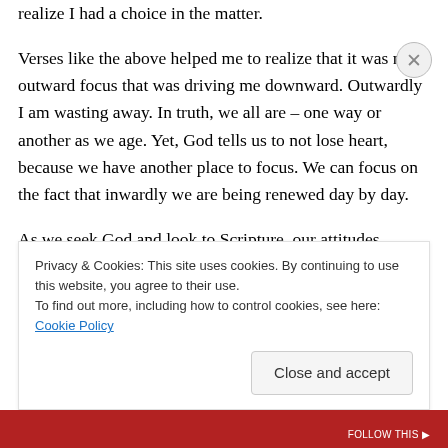realize I had a choice in the matter.
Verses like the above helped me to realize that it was my outward focus that was driving me downward. Outwardly I am wasting away. In truth, we all are – one way or another as we age. Yet, God tells us to not lose heart, because we have another place to focus. We can focus on the fact that inwardly we are being renewed day by day.
As we seek God and look to Scripture, our attitudes change. I'm not saying the outward problems disappear, but we have a choice on where to focus our emotional
Privacy & Cookies: This site uses cookies. By continuing to use this website, you agree to their use.
To find out more, including how to control cookies, see here: Cookie Policy
Close and accept